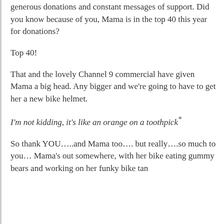generous donations and constant messages of support. Did you know because of you, Mama is in the top 40 this year for donations?
Top 40!
That and the lovely Channel 9 commercial have given Mama a big head. Any bigger and we're going to have to get her a new bike helmet.
I'm not kidding, it's like an orange on a toothpick*
So thank YOU…..and Mama too…. but really….so much to you… Mama's out somewhere, with her bike eating gummy bears and working on her funky bike tan